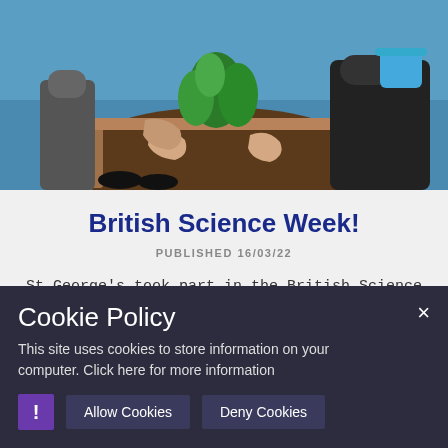[Figure (photo): Children planting a tree or plant in a school outdoor area; hands visible pressing soil around a plant with a wooden frame, blue ground surface, children in winter clothing visible]
British Science Week!
PUBLISHED 16/03/22
St George's took part in the British Science Week with the theme of 'Growth'!
Cookie Policy
This site uses cookies to store information on your computer. Click here for more information
Allow Cookies   Deny Cookies